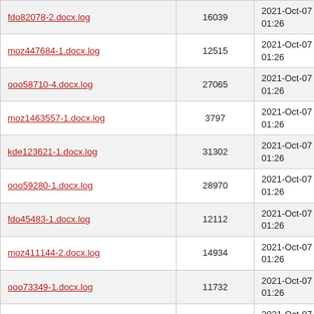| fdo82078-2.docx.log | 16039 | 2021-Oct-07 01:26 |
| moz447684-1.docx.log | 12515 | 2021-Oct-07 01:26 |
| ooo58710-4.docx.log | 27065 | 2021-Oct-07 01:26 |
| moz1463557-1.docx.log | 3797 | 2021-Oct-07 01:26 |
| kde123621-1.docx.log | 31302 | 2021-Oct-07 01:26 |
| ooo59280-1.docx.log | 28970 | 2021-Oct-07 01:26 |
| fdo45483-1.docx.log | 12112 | 2021-Oct-07 01:26 |
| moz411144-2.docx.log | 14934 | 2021-Oct-07 01:26 |
| ooo73349-1.docx.log | 11732 | 2021-Oct-07 01:26 |
| ooo101253-1.docx.log | 2423 | 2021-Oct-07 01:26 |
| moz1273187-1.docx.log | 14881 | 2021-Oct-07 01:26 |